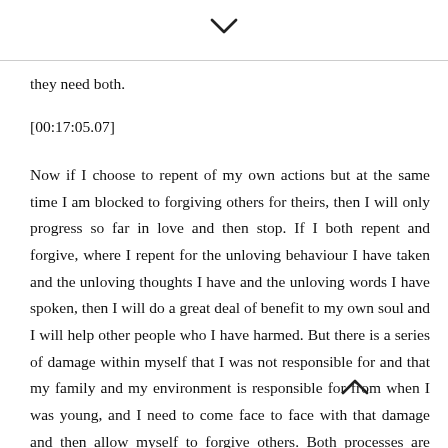[Figure (other): Chevron/caret down icon at top center of page]
they need both.
[00:17:05.07]
Now if I choose to repent of my own actions but at the same time I am blocked to forgiving others for theirs, then I will only progress so far in love and then stop. If I both repent and forgive, where I repent for the unloving behaviour I have taken and the unloving thoughts I have and the unloving words I have spoken, then I will do a great deal of benefit to my own soul and I will help other people who I have harmed. But there is a series of damage within myself that I was not responsible for and that my family and my environment is responsible for from when I was young, and I need to come face to face with that damage and then allow myself to forgive others. Both processes are emotional; they involve your emotions
[Figure (other): Chevron/caret up icon embedded within text area]